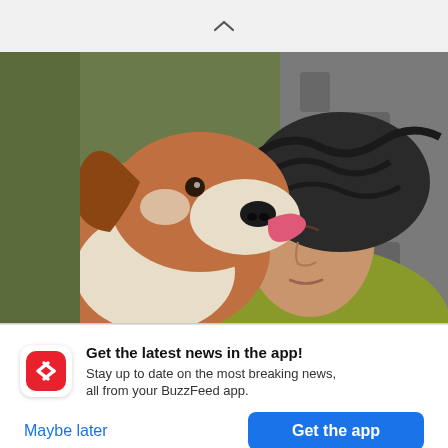[Figure (screenshot): A chevron/caret up arrow icon on a light gray background at the top of a mobile app screen]
[Figure (photo): A photo of a brown and white dog licking a man's face as they lie together on a bed with a gray patterned blanket]
Get the latest news in the app! Stay up to date on the most breaking news, all from your BuzzFeed app.
Maybe later
Get the app